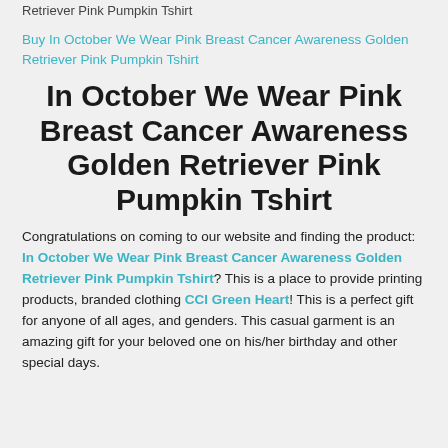Retriever Pink Pumpkin Tshirt
Buy In October We Wear Pink Breast Cancer Awareness Golden Retriever Pink Pumpkin Tshirt
In October We Wear Pink Breast Cancer Awareness Golden Retriever Pink Pumpkin Tshirt
Congratulations on coming to our website and finding the product: In October We Wear Pink Breast Cancer Awareness Golden Retriever Pink Pumpkin Tshirt? This is a place to provide printing products, branded clothing CCI Green Heart! This is a perfect gift for anyone of all ages, and genders. This casual garment is an amazing gift for your beloved one on his/her birthday and other special days.